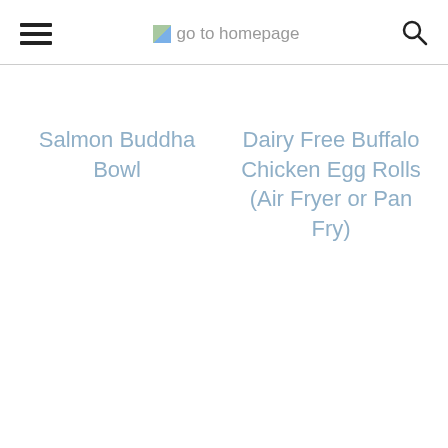go to homepage
Salmon Buddha Bowl
Dairy Free Buffalo Chicken Egg Rolls (Air Fryer or Pan Fry)